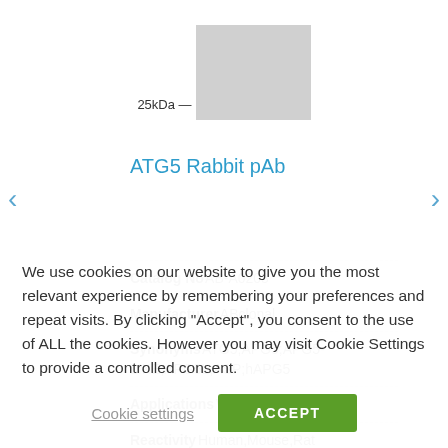[Figure (other): Western blot gel image showing a band at 25kDa marker level. Gray/light colored rectangular gel image with 25kDa molecular weight marker label.]
ATG5 Rabbit pAb
| Catalog No | AB-A0203 |
| Manufacturer | ABclonal |
| Synonyms | ATG5;APG5;APG5-LIKE;APG5L;ASP;hAPG5 |
| Applications | WB,IHC,IF |
| Reactivity | Human,Mouse,Rat |
We use cookies on our website to give you the most relevant experience by remembering your preferences and repeat visits. By clicking “Accept”, you consent to the use of ALL the cookies. However you may visit Cookie Settings to provide a controlled consent.